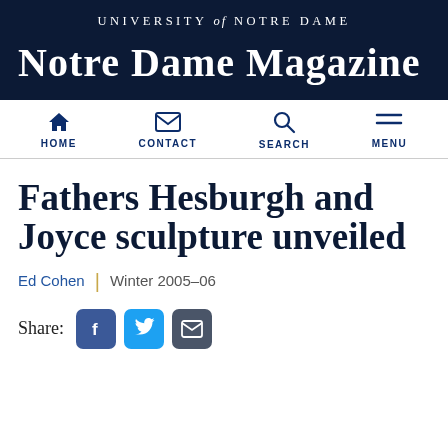UNIVERSITY of NOTRE DAME
Notre Dame Magazine
[Figure (other): Navigation bar with Home, Contact, Search, Menu icons]
Fathers Hesburgh and Joyce sculpture unveiled
Ed Cohen | Winter 2005-06
Share: [Facebook] [Twitter] [Email]